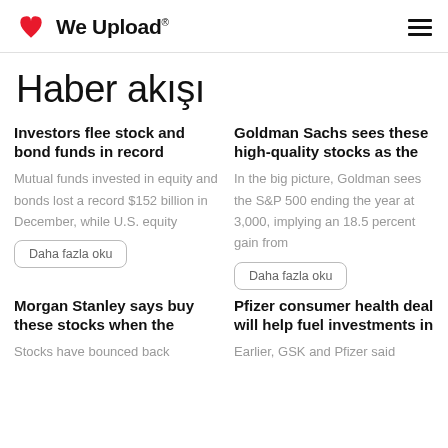We Upload
Haber akışı
Investors flee stock and bond funds in record
Mutual funds invested in equity and bonds lost a record $152 billion in December, while U.S. equity
Daha fazla oku
Goldman Sachs sees these high-quality stocks as the
In the big picture, Goldman sees the S&P 500 ending the year at 3,000, implying an 18.5 percent gain from
Daha fazla oku
Morgan Stanley says buy these stocks when the
Stocks have bounced back
Pfizer consumer health deal will help fuel investments in
Earlier, GSK and Pfizer said